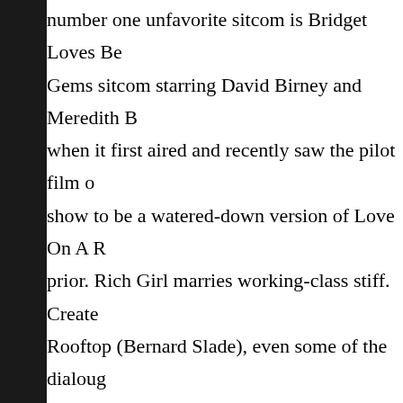number one unfavorite sitcom is Bridget Loves Be... Gems sitcom starring David Birney and Meredith B... when it first aired and recently saw the pilot film o... show to be a watered-down version of Love On A R... prior. Rich Girl marries working-class stiff. Create... Rooftop (Bernard Slade), even some of the dialoug... He: “Your rich!” She: “You make it sound like som... one particularly cringe-worthy moment in the pilot... a favorite of mine) is horrified at the possibility of... boyfriend being an African-American. While this c... All In The Family episode, it just dosen’t work on... stereotypes are broadly played, and to me are groa... gags which would be at home in a 1928 Vitaphone... “hip” sitcom. The theme music by Jerry Fielding is... that do nothing for me are One Day At A Time, Ali... far as shows with kids as the main characters, I wo... notable exception. Leave It To Beaver. That show b... actors in the lead roles, and the writing was, at time... writers gave the kids a chance to really gro...